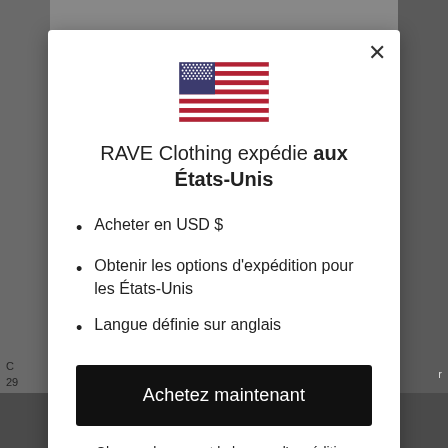[Figure (illustration): US flag icon centered at top of modal]
RAVE Clothing expédie aux États-Unis
Acheter en USD $
Obtenir les options d'expédition pour les États-Unis
Langue définie sur anglais
Achetez maintenant
Changer le pays et la langue d'expédition